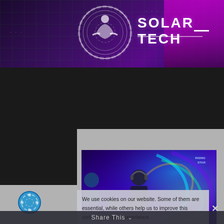SOLAR TECH
NEWS
[Figure (screenshot): DJ performing at a psychedelic-themed event with colorful swirl artwork in the background, labeled 'Rising Star']
We use cookies on our website. Some of them are essential, while others help us to improve this website and your experience.
Share This
You can find more information about the use of